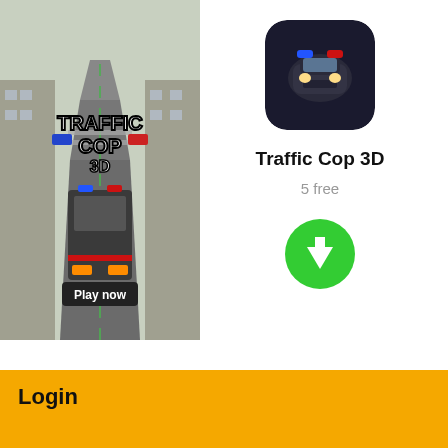[Figure (screenshot): Mobile game screenshot for Traffic Cop 3D showing a police bus driving down a road with the text 'TRAFFIC COP 3D' and a 'Play now' button]
[Figure (illustration): App icon for Traffic Cop 3D showing a police car]
Traffic Cop 3D
5 free
[Figure (other): Green circular download button with downward arrow]
AD
Login